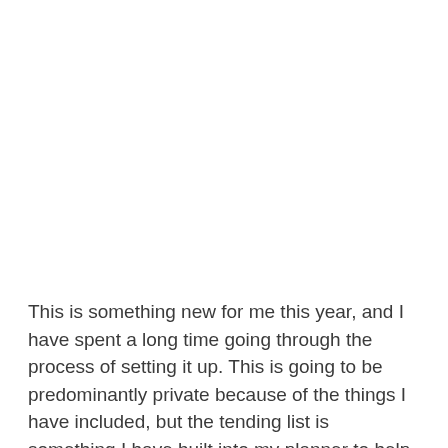This is something new for me this year, and I have spent a long time going through the process of setting it up. This is going to be predominantly private because of the things I have included, but the tending list is something I have built into my planner to help me maintain focus. This is something I have found quite cathartic